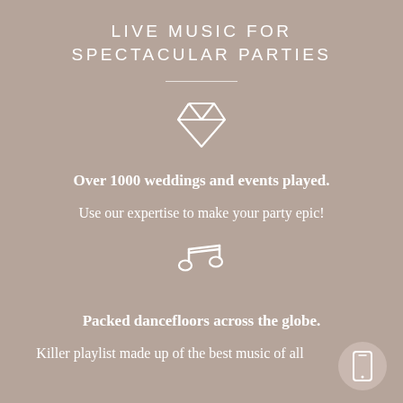LIVE MUSIC FOR SPECTACULAR PARTIES
[Figure (illustration): White outline diamond/gem icon]
Over 1000 weddings and events played.
Use our expertise to make your party epic!
[Figure (illustration): White outline musical notes icon]
Packed dancefloors across the globe.
Killer playlist made up of the best music of all
[Figure (illustration): White smartphone icon in a circular bubble, bottom right corner]